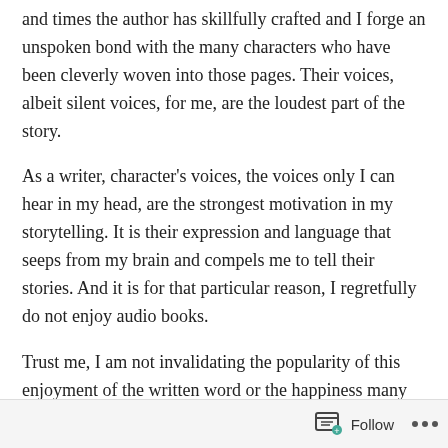and times the author has skillfully crafted and I forge an unspoken bond with the many characters who have been cleverly woven into those pages. Their voices, albeit silent voices, for me, are the loudest part of the story.
As a writer, character's voices, the voices only I can hear in my head, are the strongest motivation in my storytelling. It is their expression and language that seeps from my brain and compels me to tell their stories. And it is for that particular reason, I regretfully do not enjoy audio books.
Trust me, I am not invalidating the popularity of this enjoyment of the written word or the happiness many people find listening to audio books. For me, it is simply a disconnect. It is one voice telling a story that should have many voices and inflections, and I struggle with that
Follow